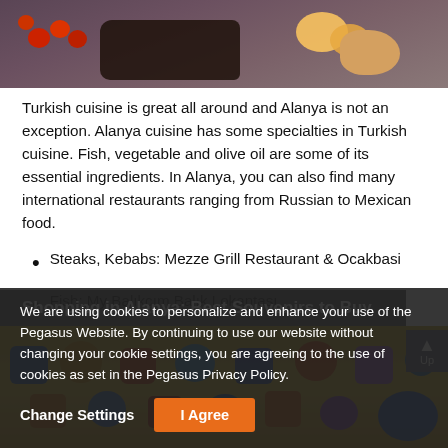[Figure (photo): Food photo showing a dark plate with cherry tomatoes, grilled meat, and lemon slices on a dark background]
Turkish cuisine is great all around and Alanya is not an exception. Alanya cuisine has some specialties in Turkish cuisine. Fish, vegetable and olive oil are some of its essential ingredients. In Alanya, you can also find many international restaurants ranging from Russian to Mexican food.
Steaks, Kebabs: Mezze Grill Restaurant & Ocakbasi
Fish: My Balıkçım Balık Lokantası
Breakfast: Cemal Kahvaltı
Shopping in Alanya: Best Souvenirs to Buy
[Figure (photo): Colorful souvenir magnets and items on a yellow/golden background]
We are using cookies to personalize and enhance your use of the Pegasus Website. By continuing to use our website without changing your cookie settings, you are agreeing to the use of cookies as set in the Pegasus Privacy Policy.